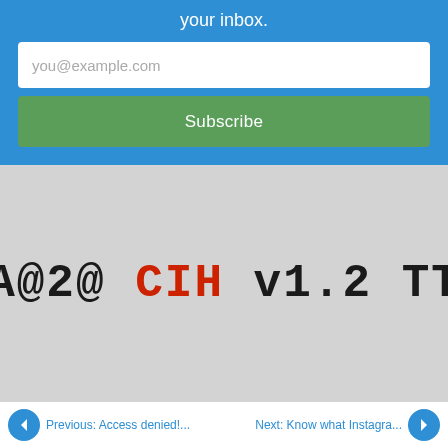your inbox.
you@example.com
Subscribe
[Figure (screenshot): Gray background image with large monospace text reading 'h@A@2@ CIH v1.2 TTIT' where 'CIH' is in red and the rest is in dark/black]
Previous: Access denied!... | Next: Know what Instagra...